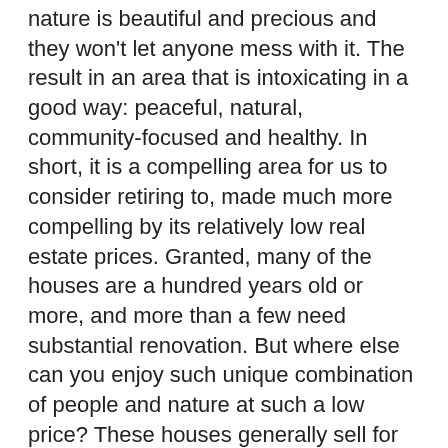nature is beautiful and precious and they won't let anyone mess with it. The result in an area that is intoxicating in a good way: peaceful, natural, community-focused and healthy. In short, it is a compelling area for us to consider retiring to, made much more compelling by its relatively low real estate prices. Granted, many of the houses are a hundred years old or more, and more than a few need substantial renovation. But where else can you enjoy such unique combination of people and nature at such a low price? These houses generally sell for between $250,000 and $350,000. It's a great value, but what make it a best value are not the affordable housing prices, but the community.
We spent our two nights in Florence, a village just to the west of Northampton. Curiously I found Florence more compelling than Northampton. I have a limited ability to appreciate boutiques and vast numbers of ethnic restaurants, although it is nice to know they are there should I want them. Florence on the other hand felt more real. It is a community with its own compelling history, including Sojourner Truth, who tried to create a utopian society in Florence. Florence, as well as Northampton, has liberal religious values that go back to the Underground Railroad, where it was a popular way station. It stitches itself together with